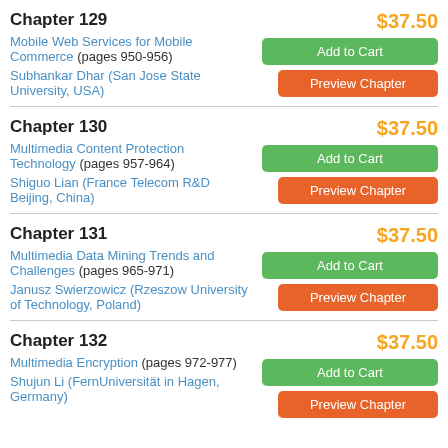Chapter 129
Mobile Web Services for Mobile Commerce (pages 950-956)
Subhankar Dhar (San Jose State University, USA)
Chapter 130
Multimedia Content Protection Technology (pages 957-964)
Shiguo Lian (France Telecom R&D Beijing, China)
Chapter 131
Multimedia Data Mining Trends and Challenges (pages 965-971)
Janusz Swierzowicz (Rzeszow University of Technology, Poland)
Chapter 132
Multimedia Encryption (pages 972-977)
Shujun Li (FernUniversität in Hagen, Germany)